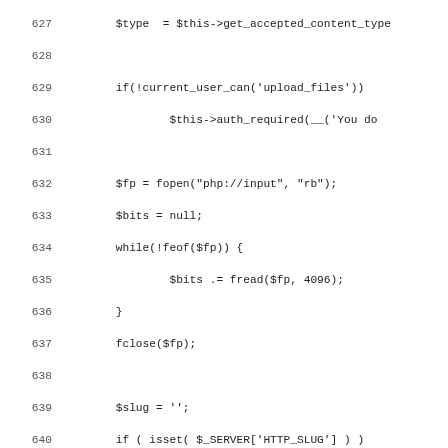Code listing lines 627-659 showing PHP file upload handling code